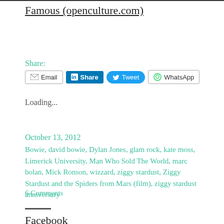Famous (openculture.com)
Share:
[Figure (screenshot): Social sharing buttons: Email, LinkedIn Share, Twitter Tweet, WhatsApp]
Loading...
October 13, 2012
Bowie, david bowie, Dylan Jones, glam rock, kate moss, Limerick University, Man Who Sold The World, marc bolan, Mick Ronson, wizzard, ziggy stardust, Ziggy Stardust and the Spiders from Mars (film), ziggy stardust anniversary
6 Comments
Facebook